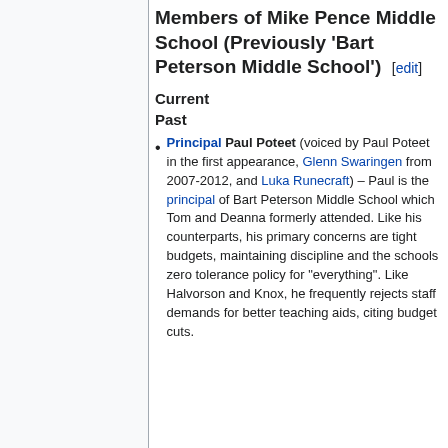Members of Mike Pence Middle School (Previously 'Bart Peterson Middle School') [edit]
Current
Past
Principal Paul Poteet (voiced by Paul Poteet in the first appearance, Glenn Swaringen from 2007-2012, and Luka Runecraft) – Paul is the principal of Bart Peterson Middle School which Tom and Deanna formerly attended. Like his counterparts, his primary concerns are tight budgets, maintaining discipline and the schools zero tolerance policy for "everything". Like Halvorson and Knox, he frequently rejects staff demands for better teaching aids, citing budget cuts.